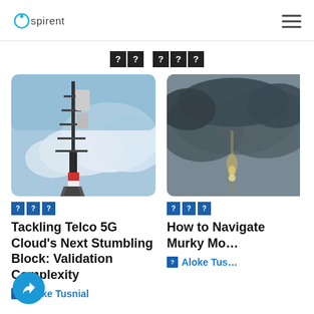Spirent
?? ???
[Figure (photo): A telecommunications tower with antenna equipment against a partly cloudy blue sky]
[Figure (photo): A dark stormy sky with a structure or tower visible through the clouds]
??? (tag boxes)
Tackling Telco 5G Cloud’s Next Stumbling Block: Validation Complexity
Aloke Tusnial
??? (tag boxes)
How to Navigate Murky Mo…
Aloke Tus…